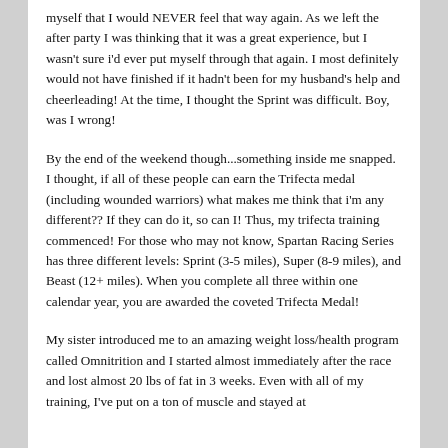myself that I would NEVER feel that way again. As we left the after party I was thinking that it was a great experience, but I wasn't sure i'd ever put myself through that again. I most definitely would not have finished if it hadn't been for my husband's help and cheerleading! At the time, I thought the Sprint was difficult. Boy, was I wrong!
By the end of the weekend though...something inside me snapped. I thought, if all of these people can earn the Trifecta medal (including wounded warriors) what makes me think that i'm any different?? If they can do it, so can I! Thus, my trifecta training commenced! For those who may not know, Spartan Racing Series has three different levels: Sprint (3-5 miles), Super (8-9 miles), and Beast (12+ miles). When you complete all three within one calendar year, you are awarded the coveted Trifecta Medal!
My sister introduced me to an amazing weight loss/health program called Omnitrition and I started almost immediately after the race and lost almost 20 lbs of fat in 3 weeks. Even with all of my training, I've put on a ton of muscle and stayed at